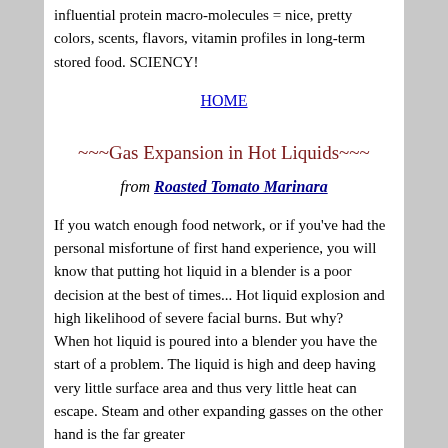influential protein macro-molecules = nice, pretty colors, scents, flavors, vitamin profiles in long-term stored food. SCIENCY!
HOME
~~~Gas Expansion in Hot Liquids~~~
from Roasted Tomato Marinara
If you watch enough food network, or if you've had the personal misfortune of first hand experience, you will know that putting hot liquid in a blender is a poor decision at the best of times... Hot liquid explosion and high likelihood of severe facial burns. But why?
When hot liquid is poured into a blender you have the start of a problem. The liquid is high and deep having very little surface area and thus very little heat can escape. Steam and other expanding gasses on the other hand is the far greater